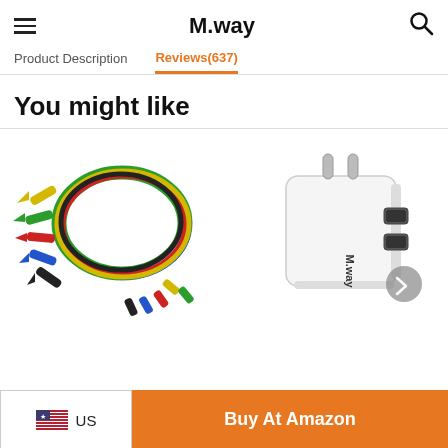M:way - hamburger menu and search icons
Product Description | Reviews(637)
You might like
[Figure (photo): Colorful test lead cables with alligator clips and banana plugs, coiled in a circle]
[Figure (photo): White dual-port USB wall charger/adapter with M:way branding, showing EU plug prongs]
US | Buy At Amazon